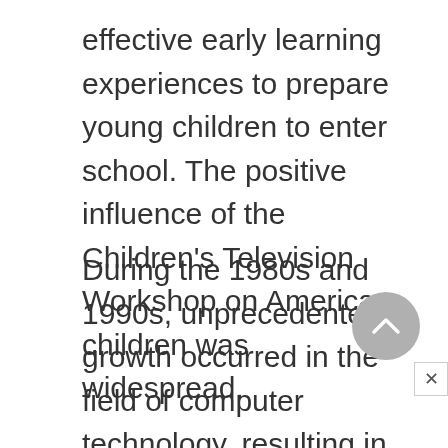effective early learning experiences to prepare young children to enter school. The positive influence of the Children's Television Workshop on American children was widespread.
During the 1980s and 1990s, unprecedented growth occurred in the field of computer technology, resulting in the increased availability of computers to children, both in their homes and schools. Improved access for children resulted in expanded